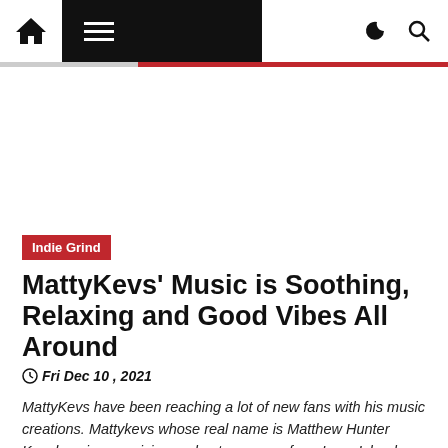Navigation bar with home icon, hamburger menu, dark/light mode toggle, search icon
Indie Grind
MattyKevs' Music is Soothing, Relaxing and Good Vibes All Around
Fri Dec 10 , 2021
MattyKevs have been reaching a lot of new fans with his music creations. Mattykevs whose real name is Matthew Hunter Kevelson is a musician and entrepreneur from Long Island, New